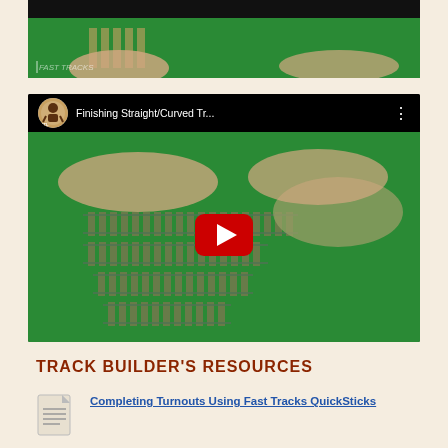[Figure (screenshot): Top portion of a video thumbnail showing hands working with model train track components on a green background, with 'Fast Tracks' watermark in lower left corner.]
[Figure (screenshot): YouTube video embed titled 'Finishing Straight/Curved Tr...' showing a person's hands arranging model railroad track sections on a green surface, with a red YouTube play button in the center.]
TRACK BUILDER'S RESOURCES
[Figure (illustration): Document/file icon representing a resource link.]
Completing Turnouts Using Fast Tracks QuickSticks